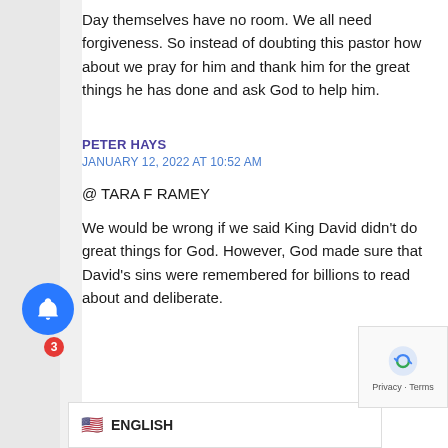Day themselves have no room. We all need forgiveness. So instead of doubting this pastor how about we pray for him and thank him for the great things he has done and ask God to help him.
PETER HAYS
JANUARY 12, 2022 AT 10:52 AM
@ TARA F RAMEY
We would be wrong if we said King David didn't do great things for God. However, God made sure that David's sins were remembered for billions to read about and deliberate.
and that we all sin; however, adultery
ltitude of other sins are, according to
ENGLISH